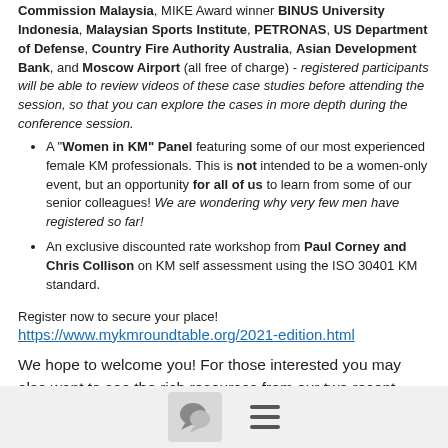Commission Malaysia, MIKE Award winner BINUS University Indonesia, Malaysian Sports Institute, PETRONAS, US Department of Defense, Country Fire Authority Australia, Asian Development Bank, and Moscow Airport (all free of charge) - registered participants will be able to review videos of these case studies before attending the session, so that you can explore the cases in more depth during the conference session.
A "Women in KM" Panel featuring some of our most experienced female KM professionals. This is not intended to be a women-only event, but an opportunity for all of us to learn from some of our senior colleagues! We are wondering why very few men have registered so far!
An exclusive discounted rate workshop from Paul Corney and Chris Collison on KM self assessment using the ISO 30401 KM standard.
Register now to secure your place!
https://www.mykmroundtable.org/2021-edition.html
We hope to welcome you! For those interested you may also want to see the rich resources from our two recent sessions on KM Jobs, and “How to Become a Chartered Knowledge Manager” (with CILIP UK). http://www.iskosg.org/event-materials.html